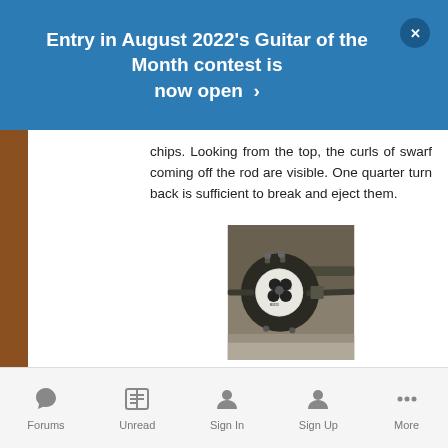Entry in August 2022's Guitar of the Month contest is now open ›
chips. Looking from the top, the curls of swarf coming off the rod are visible. One quarter turn back is sufficient to break and eject them.
[Figure (photo): Close-up photograph of a thread-cutting die held in a die-stock (tap wrench). The circular die is labeled M8 6g, HSS, and M0320, with four cutting holes visible in the face. The die is mounted in a dark metal holder with knurled thumb screws and two cross-bar handles extending to the right.]
Forums   Unread   Sign In   Sign Up   More